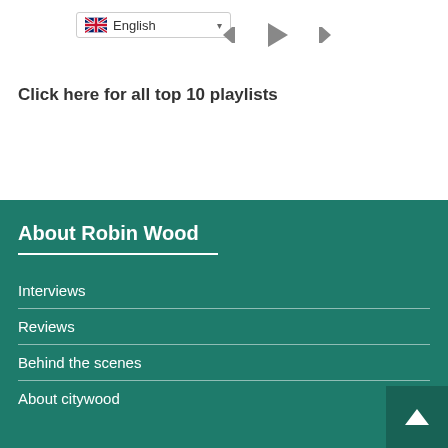[Figure (screenshot): Language selector dropdown showing English with UK flag, and media player controls (skip back, play, skip forward) icons]
Click here for all top 10 playlists
About Robin Wood
Interviews
Reviews
Behind the scenes
About citywood